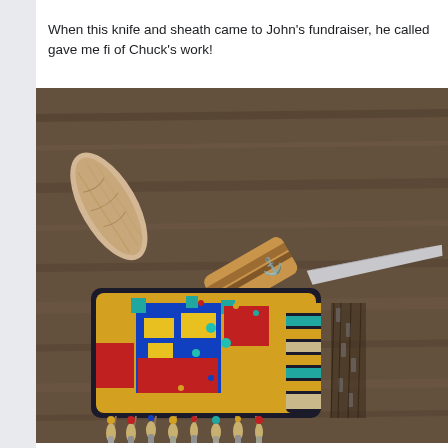When this knife and sheath came to John's fundraiser, he called gave me fi of Chuck's work!
[Figure (photo): A decorative knife with a bone and wood handle featuring an engraved symbol, displayed next to a colorfully beaded Native American-style sheath with fringe decorations including metal cones and beads, all resting on a weathered wood surface.]